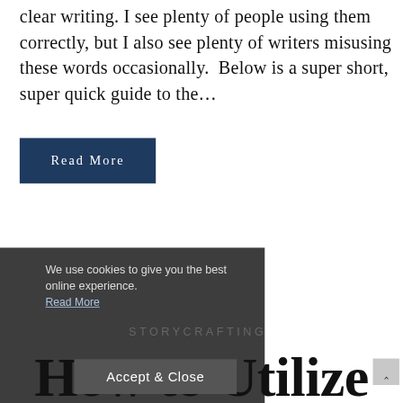clear writing. I see plenty of people using them correctly, but I also see plenty of writers misusing these words occasionally.  Below is a super short, super quick guide to the...
Read More
We use cookies to give you the best online experience.
Read More
STORYCRAFTING
How to Utilize Themes in Fiction
Accept & Close